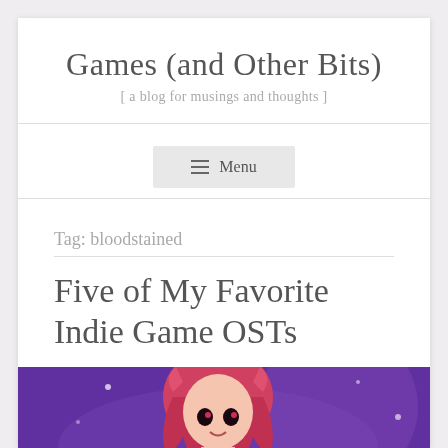Games (and Other Bits)
[ a blog for musings and thoughts ]
≡ Menu
Tag: bloodstained
Five of My Favorite Indie Game OSTs
[Figure (illustration): Colorful anime-style illustration of a female character with pink/red hair on a purple background, partially visible at bottom of page]